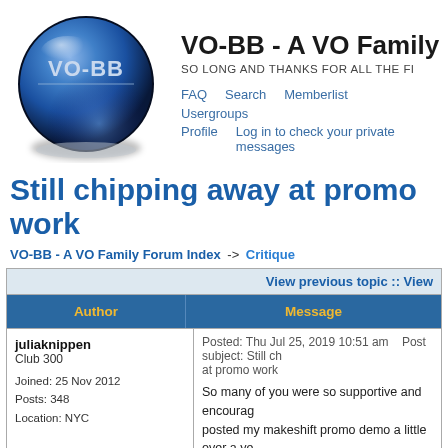[Figure (logo): VO-BB blue 3D sphere logo with text VO-BB on it, with a dark shadow below]
VO-BB - A VO Family Forum Index
SO LONG AND THANKS FOR ALL THE FI
FAQ   Search   Memberlist   Usergroups
Profile   Log in to check your private messages
Still chipping away at promo work
VO-BB - A VO Family Forum Index -> Critique
| Author | Message |
| --- | --- |
| juliaknippenClub 300
Joined: 25 Nov 2012
Posts: 348
Location: NYC | Posted: Thu Jul 25, 2019 10:51 am    Post subject: Still chipping away at promo work
So many of you were so supportive and encouraging when I posted my makeshift promo demo a little over a year ago that I wanted to share my new promo demo. I worked with Roy Ronza, owner/engineer at Star Trax in NYC... |